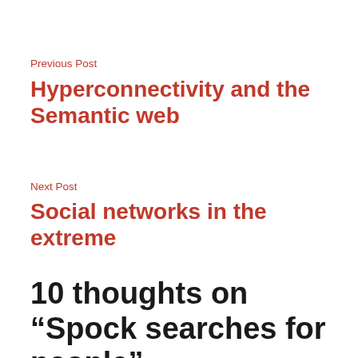Previous Post
Hyperconnectivity and the Semantic web
Next Post
Social networks in the extreme
10 thoughts on “Spock searches for people”